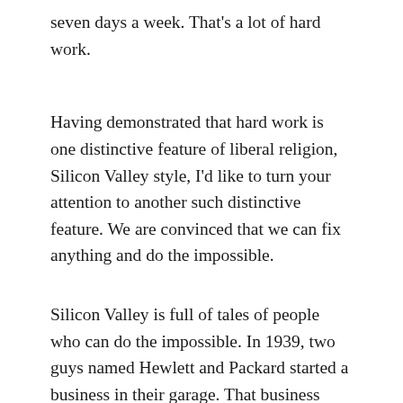seven days a week. That’s a lot of hard work.
Having demonstrated that hard work is one distinctive feature of liberal religion, Silicon Valley style, I’d like to turn your attention to another such distinctive feature. We are convinced that we can fix anything and do the impossible.
Silicon Valley is full of tales of people who can do the impossible. In 1939, two guys named Hewlett and Packard started a business in their garage. That business turned into a major corporation. In 1977, two guys named Wozniak